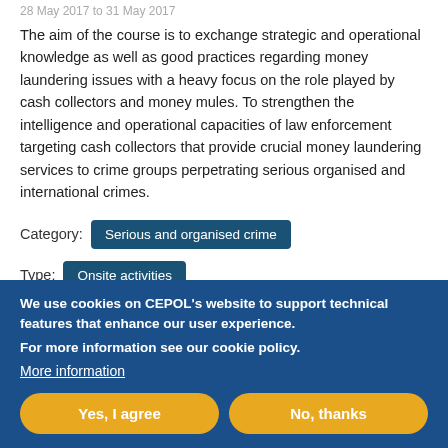28 May 2017 to 31 May 2017
The aim of the course is to exchange strategic and operational knowledge as well as good practices regarding money laundering issues with a heavy focus on the role played by cash collectors and money mules. To strengthen the intelligence and operational capacities of law enforcement targeting cash collectors that provide crucial money laundering services to crime groups perpetrating serious organised and international crimes.
Category: Serious and organised crime
Type: Onsite activities
Tags: money laundering
We use cookies on CEPOL's website to support technical features that enhance our user experience.
For more information see our cookie policy.
More information
Yes, I agree
No, thanks